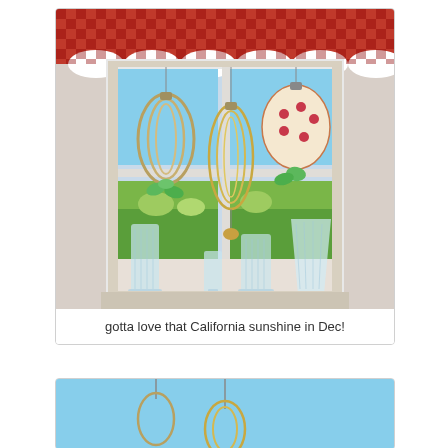[Figure (photo): Photo of a sunny window with decorative hanging ornaments (woven/rattan spiral ornaments and a patterned fabric ornament) suspended in front of a large white-framed window. On the windowsill are several crystal/glass vases and cups. Red and white checkered valance curtains hang at the top. Outside the window is blue sky and garden greenery.]
gotta love that California sunshine in Dec!
[Figure (photo): Partial photo visible at bottom of page, appears to show a similar decorative hanging ornament scene with blue sky background.]